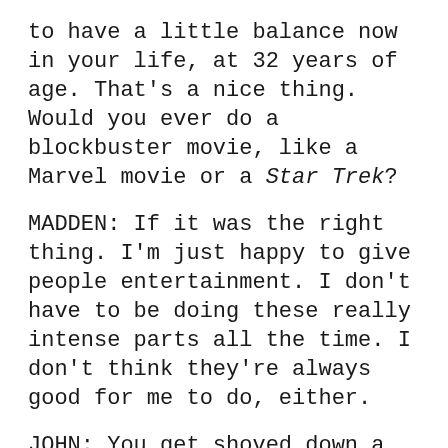to have a little balance now in your life, at 32 years of age. That's a nice thing. Would you ever do a blockbuster movie, like a Marvel movie or a Star Trek?
MADDEN: If it was the right thing. I'm just happy to give people entertainment. I don't have to be doing these really intense parts all the time. I don't think they're always good for me to do, either.
JOHN: You get shoved down a cul-de-sac?
MADDEN: You learn different skills